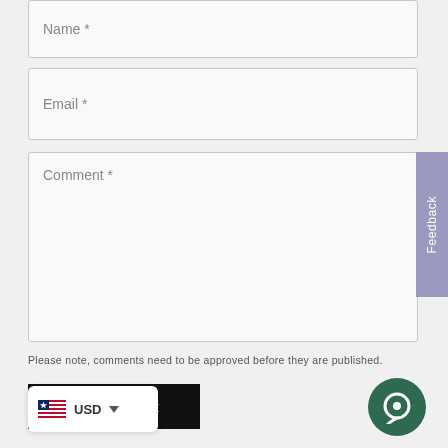[Figure (screenshot): Name input field with placeholder 'Name *']
[Figure (screenshot): Email input field with placeholder 'Email *']
[Figure (screenshot): Comment textarea with placeholder 'Comment *' and a purple Feedback tab on the right side]
Please note, comments need to be approved before they are published.
[Figure (screenshot): Black 'Post comment' button]
[Figure (screenshot): Currency selector showing Liberia flag and USD with dropdown arrow]
[Figure (screenshot): Dark green circular chat button icon]